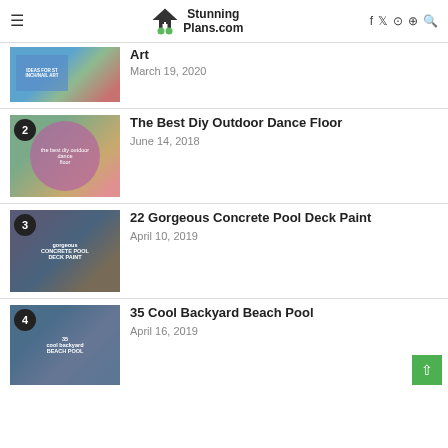StunningPlans.com
[Figure (photo): Thumbnail image for article about art/nail art, partially visible at top]
Art
March 19, 2020
[Figure (photo): Thumbnail image numbered 2 for The Best Diy Outdoor Dance Floor]
The Best Diy Outdoor Dance Floor
June 14, 2018
[Figure (photo): Thumbnail image numbered 3 for 22 Gorgeous Concrete Pool Deck Paint]
22 Gorgeous Concrete Pool Deck Paint
April 10, 2019
[Figure (photo): Thumbnail image numbered 4 for 35 Cool Backyard Beach Pool]
35 Cool Backyard Beach Pool
April 16, 2019